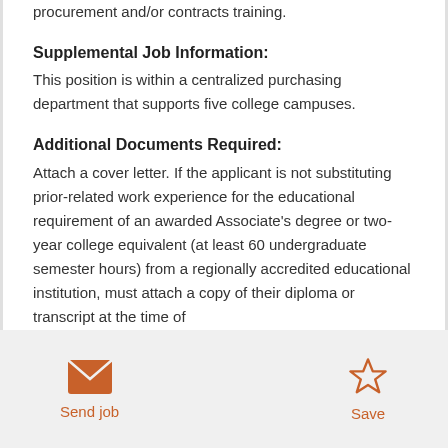procurement and/or contracts training.
Supplemental Job Information:
This position is within a centralized purchasing department that supports five college campuses.
Additional Documents Required:
Attach a cover letter. If the applicant is not substituting prior-related work experience for the educational requirement of an awarded Associate's degree or two-year college equivalent (at least 60 undergraduate semester hours) from a regionally accredited educational institution, must attach a copy of their diploma or transcript at the time of
Send job | Save